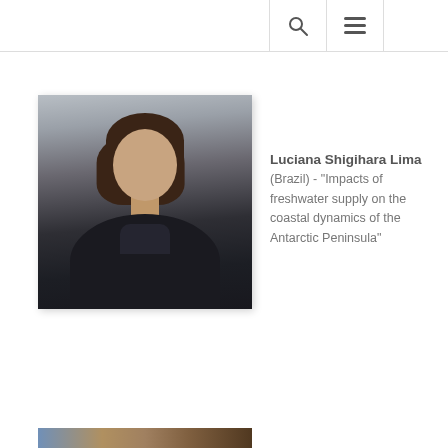[Figure (photo): Portrait photo of Luciana Shigihara Lima, a woman with shoulder-length dark hair, smiling, wearing a dark jacket, photographed against a light gray background.]
Luciana Shigihara Lima (Brazil) - "Impacts of freshwater supply on the coastal dynamics of the Antarctic Peninsula"
[Figure (photo): Partial photo visible at the bottom of the page, appears to show an outdoor or landscape scene.]